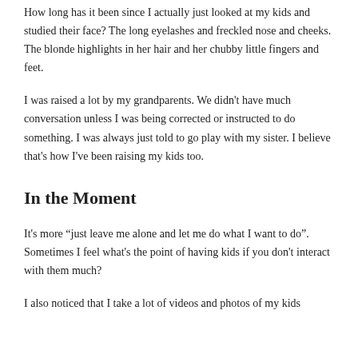How long has it been since I actually just looked at my kids and studied their face? The long eyelashes and freckled nose and cheeks. The blonde highlights in her hair and her chubby little fingers and feet.
I was raised a lot by my grandparents. We didn’t have much conversation unless I was being corrected or instructed to do something. I was always just told to go play with my sister. I believe that’s how I’ve been raising my kids too.
In the Moment
It’s more “just leave me alone and let me do what I want to do”. Sometimes I feel what’s the point of having kids if you don’t interact with them much?
I also noticed that I take a lot of videos and photos of my kids